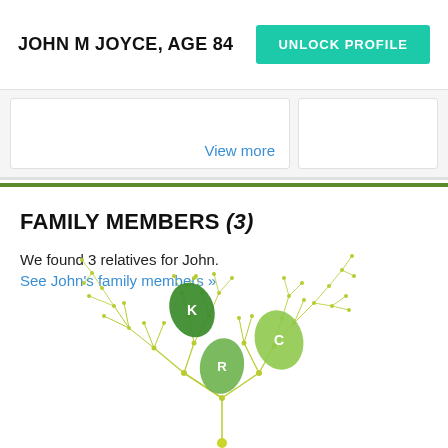JOHN M JOYCE, AGE 84
View more
FAMILY MEMBERS (3)
We found 3 relatives for John.
See John's family members »
[Figure (illustration): A decorative family tree network diagram with green leaf-shaped nodes labeled K, R, C connected by branching yellow-green lines with dots]